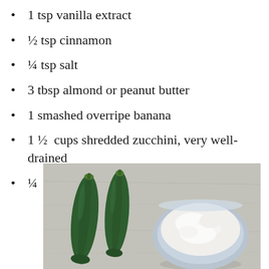1 tsp vanilla extract
½ tsp cinnamon
¼ tsp salt
3 tbsp almond or peanut butter
1 smashed overripe banana
1 ½  cups shredded zucchini, very well-drained
¼  cup non-dairy milk
[Figure (photo): Two dark green zucchini laying on a grey stone surface next to a round bowl filled with white flour or powder, viewed from above.]